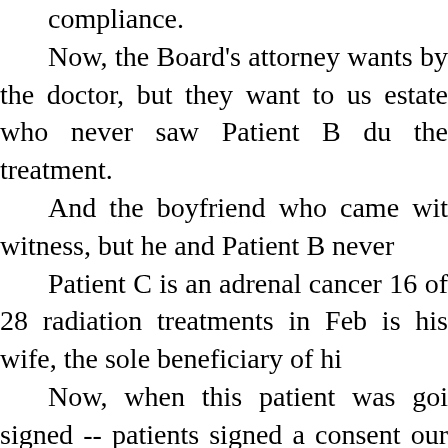compliance. Now, the Board's attorney wants by the doctor, but they want to us estate who never saw Patient B du the treatment. And the boyfriend who came wit witness, but he and Patient B never Patient C is an adrenal cancer 16 of 28 radiation treatments in Feb is his wife, the sole beneficiary of hi Now, when this patient was goi signed -- patients signed a consent our family doctor involved. Dr. B therapy and they all signed written were doing. Now, Patient C's wife, after he treatment, called up and canceled a and which he had not complained June of '04, almost four years. We think he was as happy a pa fatigued, unable to do anything afte walking two miles a day, going to h therapies was what helped him.